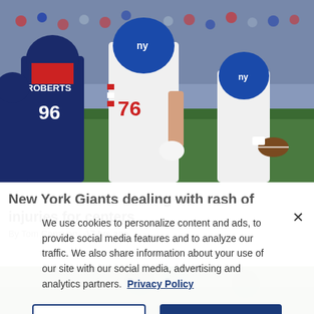[Figure (photo): NFL football game action photo showing New York Giants offensive lineman #76 in white uniform blocking New England Patriots defender #96 ROBERTS in dark blue uniform, with Giants quarterback in background holding football]
New York Giants dealing with rash of injuries for centers
By Tom Canavan · 17 hrs ago
We use cookies to personalize content and ads, to provide social media features and to analyze our traffic. We also share information about your use of our site with our social media, advertising and analytics partners.  Privacy Policy
[Figure (photo): Partially visible outdoor sports scene at bottom of page, obscured by cookie consent overlay]
Cookies Settings
Accept All Cookies